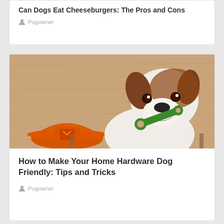Can Dogs Eat Cheeseburgers: The Pros and Cons
Pugowner
[Figure (photo): A Jack Russell Terrier dog holding a green wrench toy in its mouth, sitting in front of a wooden background. An orange construction hard hat is visible in the lower left corner.]
How to Make Your Home Hardware Dog Friendly: Tips and Tricks
Pugowner